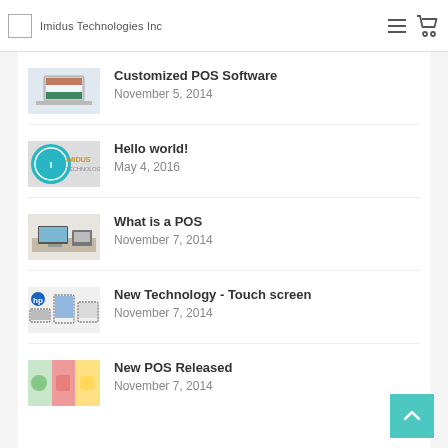Imidus Technologies Inc
Customized POS Software
November 5, 2014
Hello world!
May 4, 2016
What is a POS
November 7, 2014
New Technology - Touch screen
November 7, 2014
New POS Released
November 7, 2014